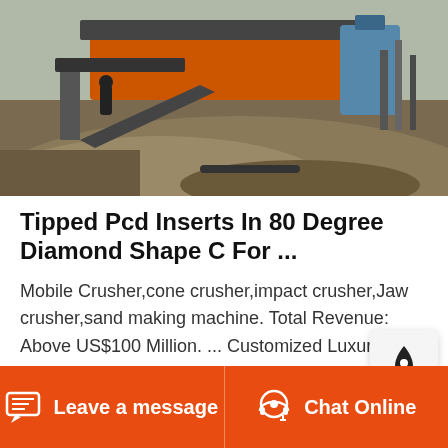[Figure (photo): Outdoor mining/construction site with heavy machinery, orange crusher equipment, conveyor belts, and large piles of earth/gravel in a winter or grey-sky setting.]
Tipped Pcd Inserts In 80 Degree Diamond Shape C For ...
Mobile Crusher,cone crusher,impact crusher,Jaw crusher,sand making machine. Total Revenue: Above US$100 Million. ... Customized Luxury Women Long Wallet New Design Wallets Crocodile Patterns Ladies Clutch Bag. Country/Region: China. ...
Leave a message
Chat Online